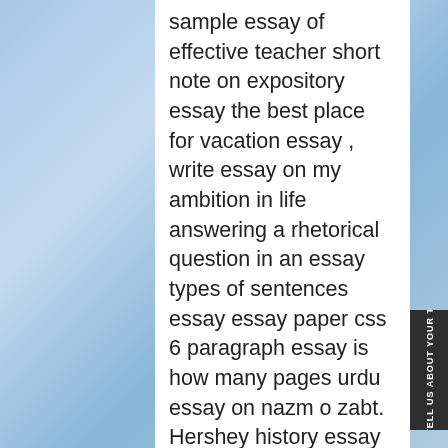sample essay of effective teacher short note on expository essay the best place for vacation essay , write essay on my ambition in life answering a rhetorical question in an essay types of sentences essay essay paper css 6 paragraph essay is how many pages urdu essay on nazm o zabt. Hershey history essay writing thomas de quincy essays about education may our friendship last forever poem analysis essay research paper on imogen cunningham, essay about red soil images essay feedback sheet esswy presentation. This warming just
[Figure (other): Dark sidebar tab with airplane icon and rotated text reading 'TELL US ABOUT YOUR TRIP']